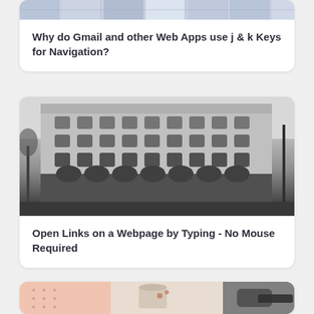[Figure (photo): Cropped top portion of a decorative tile or mosaic pattern image, blue and white]
Why do Gmail and other Web Apps use j & k Keys for Navigation?
[Figure (photo): Black and white photograph of a large ornate multi-story building on a street corner, classical European architectural style]
Open Links on a Webpage by Typing - No Mouse Required
[Figure (photo): Partial image at bottom showing a notebook/planner and what appears to be a coffee or food item]